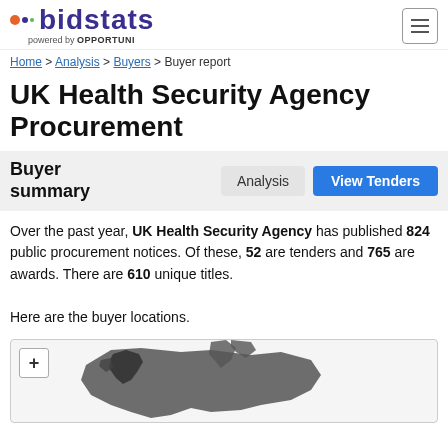bidstats powered by OPPORTUNI
Home > Analysis > Buyers > Buyer report
UK Health Security Agency Procurement
Buyer summary
Over the past year, UK Health Security Agency has published 824 public procurement notices. Of these, 52 are tenders and 765 are awards. There are 610 unique titles.
Here are the buyer locations.
[Figure (map): Interactive map showing buyer locations in the UK/Europe region with zoom controls]